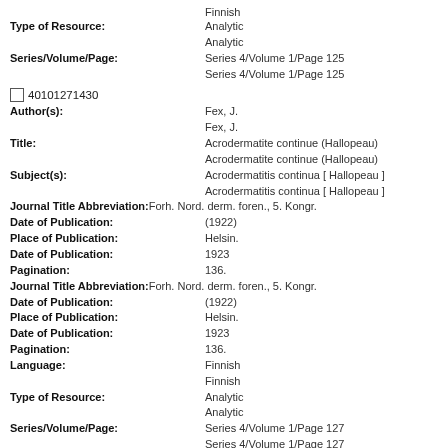Finnish
Type of Resource: Analytic
Analytic
Series/Volume/Page: Series 4/Volume 1/Page 125
Series 4/Volume 1/Page 125
40101271430
Author(s): Fex, J.
Fex, J.
Title: Acrodermatite continue (Hallopeau)
Acrodermatite continue (Hallopeau)
Subject(s): Acrodermatitis continua [ Hallopeau ]
Acrodermatitis continua [ Hallopeau ]
Journal Title Abbreviation: Forh. Nord. derm. foren., 5. Kongr.
Date of Publication: (1922)
Place of Publication: Helsin.
Date of Publication: 1923
Pagination: 136.
Journal Title Abbreviation: Forh. Nord. derm. foren., 5. Kongr.
Date of Publication: (1922)
Place of Publication: Helsin.
Date of Publication: 1923
Pagination: 136.
Language: Finnish
Finnish
Type of Resource: Analytic
Analytic
Series/Volume/Page: Series 4/Volume 1/Page 127
Series 4/Volume 1/Page 127
40101331140